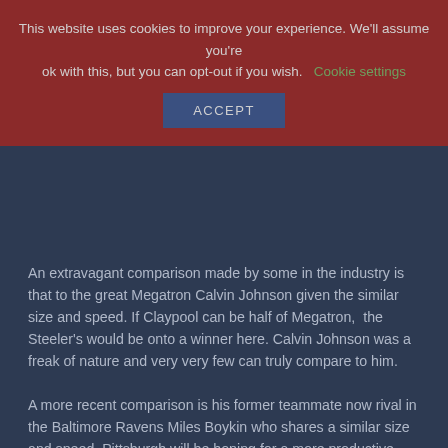This website uses cookies to improve your experience. We'll assume you're ok with this, but you can opt-out if you wish.
Cookie settings
ACCEPT
An extravagant comparison made by some in the industry is that to the great Megatron Calvin Johnson given the similar size and speed. If Claypool can be half of Megatron,  the Steeler's would be onto a winner here. Calvin Johnson was a freak of nature and very very few can truly compare to him.
A more recent comparison is his former teammate now rival in the Baltimore Ravens Miles Boykin who shares a similar size and speed. Pittsburgh will be hoping for a more productive first year from Claypool than Boykin showed in Baltimore.
A final and likely the most accurate comparison is Mike